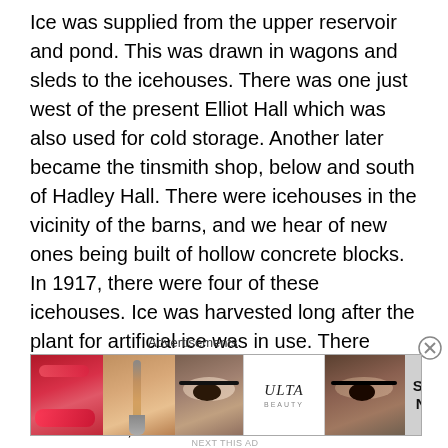Ice was supplied from the upper reservoir and pond. This was drawn in wagons and sleds to the icehouses. There was one just west of the present Elliot Hall which was also used for cold storage. Another later became the tinsmith shop, below and south of Hadley Hall. There were icehouses in the vicinity of the barns, and we hear of new ones being built of hollow concrete blocks. In 1917, there were four of these icehouses. Ice was harvested long after the plant for artificial ice was in use. There were a couple of poor years, but in the winter of 1919 the ice was 30-34 inches thick and 1,200 tons was cut. Needless to say, this ice could only be used for cooling in refrigerators or cold rooms and not for consumption.
Advertisements
[Figure (photo): Advertisement banner for ULTA beauty showing close-up photos of lips with lipstick, a makeup brush, an eye with dramatic makeup, the ULTA logo, another eye with makeup, and a 'SHOP NOW' call to action on a grey background.]